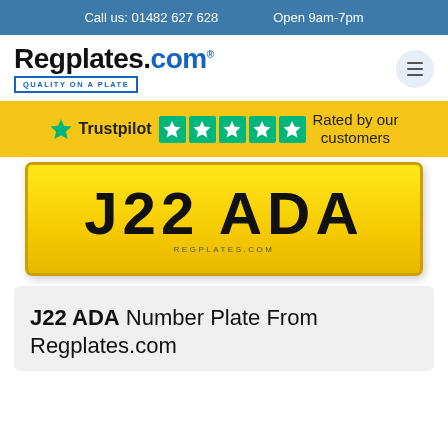Call us: 01482 627 628    Open 9am-7pm
[Figure (logo): Regplates.com logo with tagline QUALITY ON A PLATE and hamburger menu icon]
[Figure (infographic): Trustpilot rating bar with star icon, Trustpilot label, 5 green star boxes, and text Rated by our customers]
[Figure (photo): Yellow UK number plate showing J22 ADA with REGPLATES.COM watermark]
J22 ADA Number Plate From Regplates.com